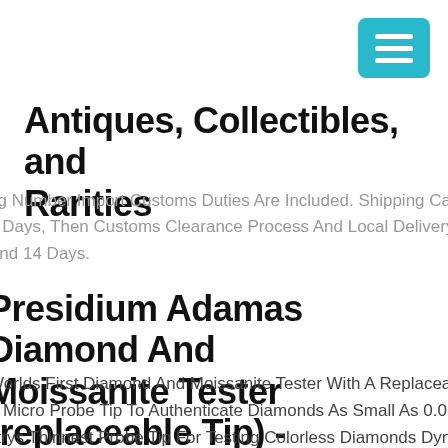[Figure (other): Hamburger menu button icon, cyan/teal square with three white horizontal lines]
Antiques, Collectibles, and Rarities
ng Number Import Customs Duties Are Included. Shipping Can Take 5 Days, Then Customs Clearance Process And Local Delivery To Door And 14 Days.
Presidium Adamas Diamond And Moissanite Tester (replaceable Tip) - N5611
Worlds First Diamond And Moissanite Tester With A Replaceable Tip A Micro Probe Tip To Authenticate Diamonds As Small As 0.01 Carats Thinnest Probe Tip For Testing Colorless Diamonds Dynamic Display With Super Bright Micro Led For Clear And Distinct Results Usb Alternative Power Source And Connectivity Detects Colorless Diamonds, Moissanites, Simulants Instantly With Metal Alert Accurate Testing On